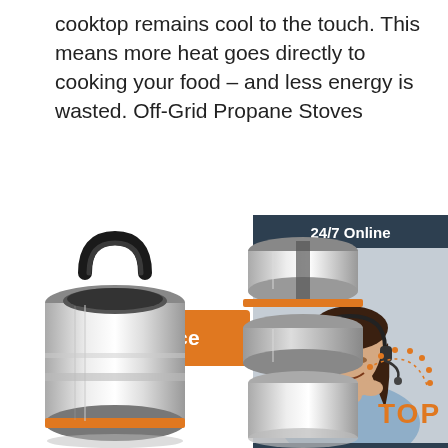cooktop remains cool to the touch. This means more heat goes directly to cooking your food – and less energy is wasted. Off-Grid Propane Stoves
[Figure (other): Orange 'Get Price' button]
[Figure (other): 24/7 Online chat widget with a female customer service representative wearing a headset, with 'Click here for free chat!' text and an orange 'QUOTATION' button]
[Figure (photo): Stainless steel thermos/food carrier with black handle and orange ring accent shown from above-side angle]
[Figure (photo): Stainless steel thermos/food carrier components disassembled, with orange accent ring and a 'TOP' badge with dotted arc in bottom-right corner]